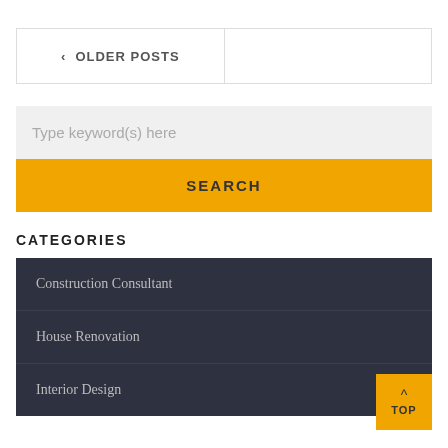< OLDER POSTS
Type keyword(s) here
SEARCH
CATEGORIES
Construction Consultant
House Renovation
Interior Design
TOP